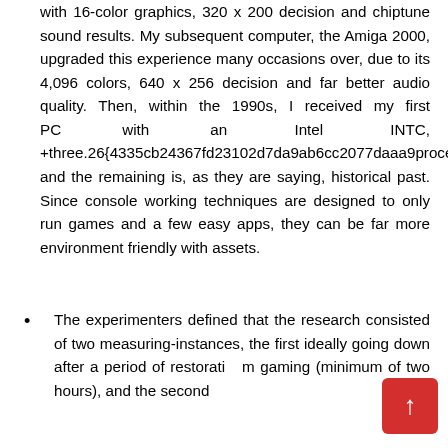by way of a Commodore 64 that featured video games with 16-color graphics, 320 x 200 decision and chiptune sound results. My subsequent computer, the Amiga 2000, upgraded this experience many occasions over, due to its 4,096 colors, 640 x 256 decision and far better audio quality. Then, within the 1990s, I received my first PC with an Intel INTC, +three.26{4335cb24367fd23102d7da9ab6cc2077daaa9... processor, and the remaining is, as they are saying, historical past. Since console working techniques are designed to only run games and a few easy apps, they can be far more environment friendly with assets.
The experimenters defined that the research consisted of two measuring-instances, the first ideally going down after a period of restoration gaming (minimum of two hours), and the second